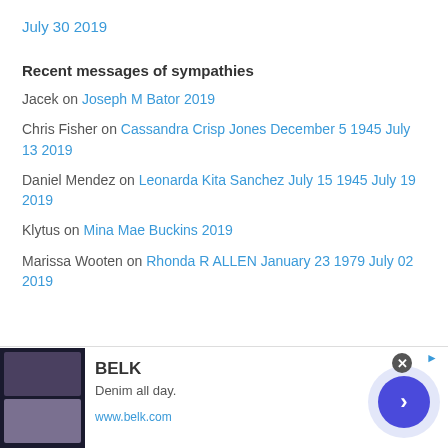July 30 2019
Recent messages of sympathies
Jacek on Joseph M Bator 2019
Chris Fisher on Cassandra Crisp Jones December 5 1945 July 13 2019
Daniel Mendez on Leonarda Kita Sanchez July 15 1945 July 19 2019
Klytus on Mina Mae Buckins 2019
Marissa Wooten on Rhonda R ALLEN January 23 1979 July 02 2019
[Figure (other): Advertisement banner for BELK featuring denim clothing imagery, tagline 'Denim all day.', URL www.belk.com, with a circular navigation button]